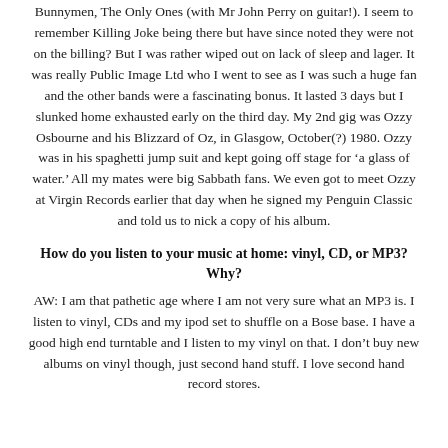Bunnymen, The Only Ones (with Mr John Perry on guitar!). I seem to remember Killing Joke being there but have since noted they were not on the billing? But I was rather wiped out on lack of sleep and lager. It was really Public Image Ltd who I went to see as I was such a huge fan and the other bands were a fascinating bonus. It lasted 3 days but I slunked home exhausted early on the third day. My 2nd gig was Ozzy Osbourne and his Blizzard of Oz, in Glasgow, October(?) 1980. Ozzy was in his spaghetti jump suit and kept going off stage for 'a glass of water.' All my mates were big Sabbath fans. We even got to meet Ozzy at Virgin Records earlier that day when he signed my Penguin Classic and told us to nick a copy of his album.
How do you listen to your music at home: vinyl, CD, or MP3? Why?
AW: I am that pathetic age where I am not very sure what an MP3 is. I listen to vinyl, CDs and my ipod set to shuffle on a Bose base. I have a good high end turntable and I listen to my vinyl on that. I don't buy new albums on vinyl though, just second hand stuff. I love second hand record stores.